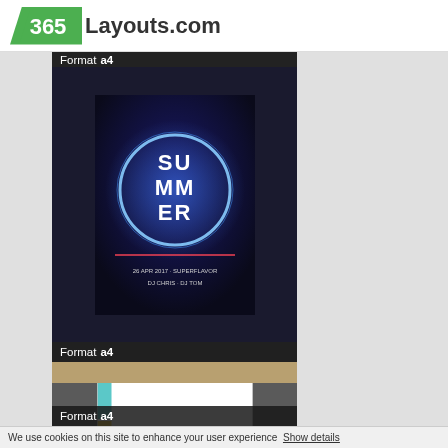365Layouts.com
[Figure (screenshot): Thumbnail showing a summer party flyer with neon circle design on dark blue background, text SU MM ER]
Format a4
[Figure (screenshot): Thumbnail showing a Tageskarte (daily menu) on aged parchment paper with ornamental text rows]
Format a4
[Figure (screenshot): Thumbnail showing a white document with colored tabs/markers on the left side (teal, yellow, orange, red)]
Format a4
We use cookies on this site to enhance your user experience  Show details